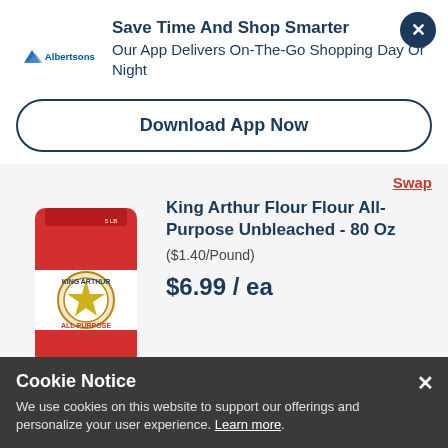Save Time And Shop Smarter
Our App Delivers On-The-Go Shopping Day Or Night
Download App Now
[Figure (illustration): King Arthur All-Purpose Flour bag, red and white, 80 Oz]
Swap
King Arthur Flour Flour All-Purpose Unbleached - 80 Oz
($1.40/Pound)
$6.99 / ea
Cookie Notice
We use cookies on this website to support our offerings and personalize your user experience. Learn more.